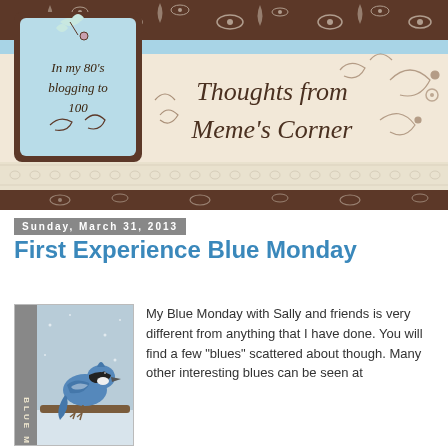[Figure (illustration): Blog header banner for 'Thoughts from Meme's Corner' blog. Features a dark brown damask floral pattern on top strip and bottom band, a light blue horizontal stripe, a cream/beige middle section with cursive title text 'Thoughts from Meme's Corner', a decorative tag box on the left reading 'In my 80's blogging to 100' on a blue background with brown border, and a lace trim separating sections.]
Sunday, March 31, 2013
First Experience Blue Monday
[Figure (photo): Photo of a blue jay bird perched on a branch, with a vertical gray banner on the left side reading 'BLUE MONDAY' in vertical text.]
My Blue Monday with Sally and friends is very different from anything that I have done. You will find a few "blues" scattered about though. Many other interesting blues can be seen at